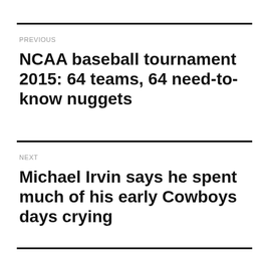PREVIOUS
NCAA baseball tournament 2015: 64 teams, 64 need-to-know nuggets
NEXT
Michael Irvin says he spent much of his early Cowboys days crying